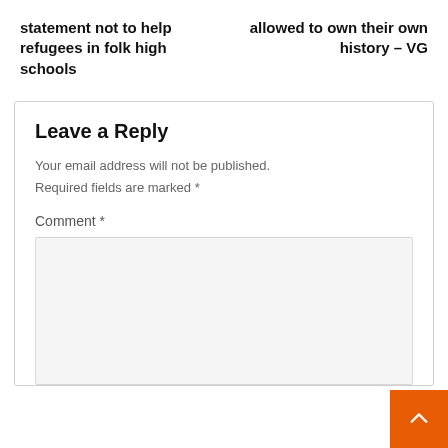statement not to help refugees in folk high schools
allowed to own their own history – VG
Leave a Reply
Your email address will not be published.
Required fields are marked *
Comment *